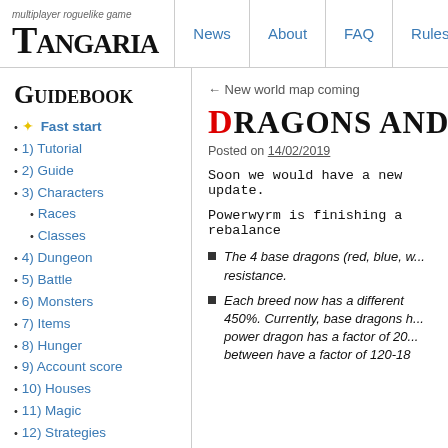multiplayer roguelike game | Tangaria | News | About | FAQ | Rules
Guidebook
✦ Fast start
1) Tutorial
2) Guide
3) Characters
Races
Classes
4) Dungeon
5) Battle
6) Monsters
7) Items
8) Hunger
9) Account score
10) Houses
11) Magic
12) Strategies
Walkthrough
← New world map coming
Dragons and G
Posted on 14/02/2019
Soon we would have a new update.
Powerwyrm is finishing a rebalance
The 4 base dragons (red, blue, w... resistance.
Each breed now has a different ... 450%. Currently, base dragons h... power dragon has a factor of 20... between have a factor of 120-180...